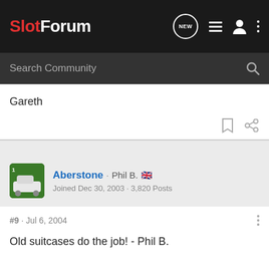SlotForum
Gareth
Aberstone · Phil B. 🇬🇧
Joined Dec 30, 2003 · 3,820 Posts
#9 · Jul 6, 2004
Old suitcases do the job! - Phil B.